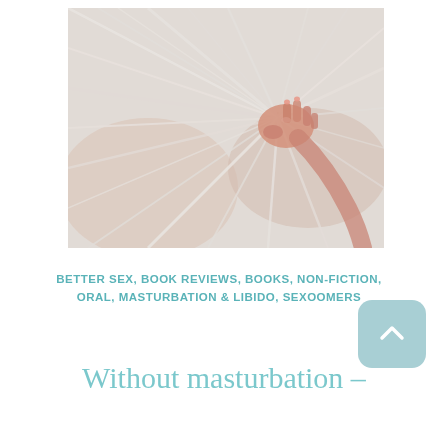[Figure (photo): A hand gripping and bunching up white sheer fabric, photographed close-up against a light pink/white background]
BETTER SEX, BOOK REVIEWS, BOOKS, NON-FICTION, ORAL, MASTURBATION & LIBIDO, SEXOOMERS
Without masturbation –